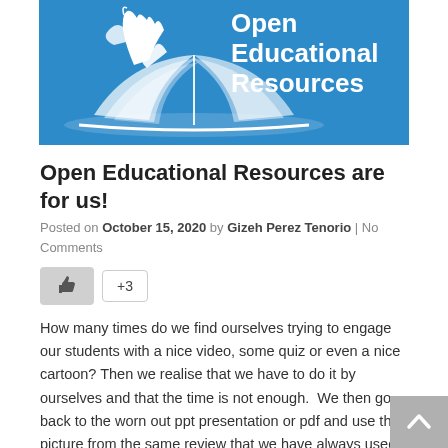[Figure (logo): Open Educational Resources logo — blue banner with white illustration of hands over an open book, white bold text reading 'Open Educational Resources']
Open Educational Resources are for us!
Posted on October 15, 2020 by Gizeh Perez Tenorio | No Comments
[Figure (other): Like button (thumbs up icon on grey background) and +3 count badge]
How many times do we find ourselves trying to engage our students with a nice video, some quiz or even a nice cartoon? Then we realise that we have to do it by ourselves and that the time is not enough.  We then go back to the worn out ppt presentation or pdf and use that picture from the same review that we have always used. Well…good news is that there are a lot of free available resources for us.